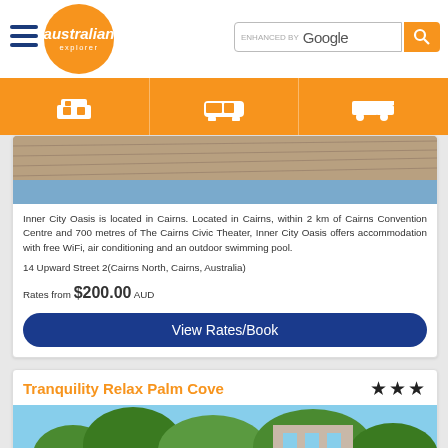[Figure (logo): Australian Explorer logo with orange circle and hamburger menu, and Google search bar]
[Figure (infographic): Orange navigation bar with three icons: bed/accommodation, van/tours, car/rental]
[Figure (photo): Partial hotel room photo showing wooden floor]
Inner City Oasis is located in Cairns. Located in Cairns, within 2 km of Cairns Convention Centre and 700 metres of The Cairns Civic Theater, Inner City Oasis offers accommodation with free WiFi, air conditioning and an outdoor swimming pool.
14 Upward Street 2(Cairns North, Cairns, Australia)
Rates from $200.00 AUD
View Rates/Book
Tranquility Relax Palm Cove
[Figure (photo): Hotel exterior with palm trees and blue sky]